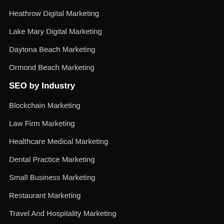Heathrow Digital Marketing
Lake Mary Digital Marketing
Daytona Beach Marketing
Ormond Beach Marketing
SEO by Industry
Blockchain Marketing
Law Firm Marketing
Healthcare Medical Marketing
Dental Practice Marketing
Small Business Marketing
Restaurant Marketing
Travel And Hospitality Marketing
Medical Practice Marketing
Professional Services Marketing